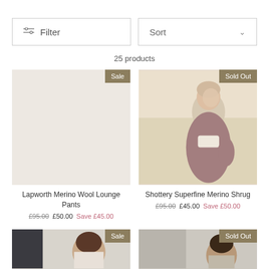Filter
Sort
25 products
[Figure (photo): Product image placeholder for Lapworth Merino Wool Lounge Pants with Sale badge]
Lapworth Merino Wool Lounge Pants
£95.00  £50.00  Save £45.00
[Figure (photo): Photo of woman in dark red shrug looking upward outdoors, with Sold Out badge]
Shottery Superfine Merino Shrug
£95.00  £45.00  Save £50.00
[Figure (photo): Partially visible product image with Sale badge at bottom of page]
[Figure (photo): Partially visible product image with Sold Out badge at bottom of page]